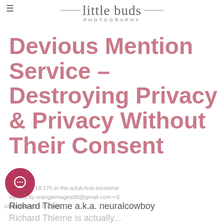little buds PHOTOGRAPHY
Devious Mention Service – Destroying Privacy & Privacy Without Their Consent
Posted at 18:17h in the-adult-hub-inceleme visitors by orangeimages08@gmail.com • 0 Comments • 0 Likes
Richard Thieme a.k.a. neuralcowboy Richard Thieme is actually...